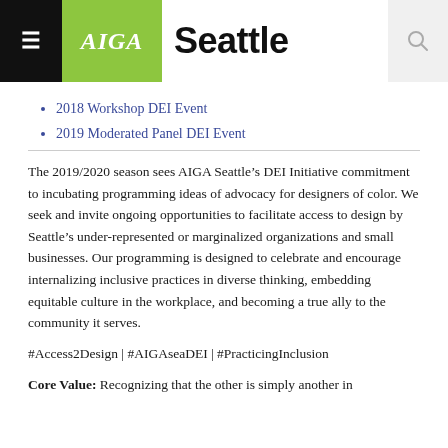AIGA Seattle
2018 Workshop DEI Event
2019 Moderated Panel DEI Event
The 2019/2020 season sees AIGA Seattle’s DEI Initiative commitment to incubating programming ideas of advocacy for designers of color. We seek and invite ongoing opportunities to facilitate access to design by Seattle’s under-represented or marginalized organizations and small businesses. Our programming is designed to celebrate and encourage internalizing inclusive practices in diverse thinking, embedding equitable culture in the workplace, and becoming a true ally to the community it serves.
#Access2Design | #AIGAseaDEI | #PracticingInclusion
Core Value: Recognizing that the other is simply another in